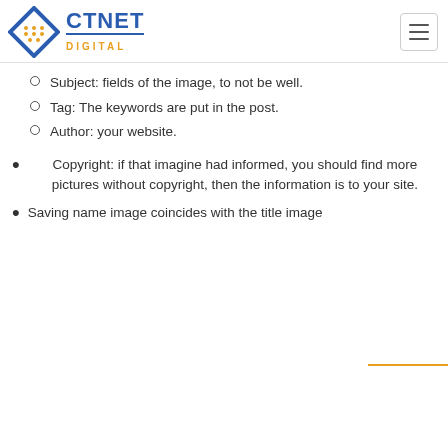CTNET DIGITAL
Subject: fields of the image, to not be well.
Tag: The keywords are put in the post.
Author: your website.
Copyright: if that imagine had informed, you should find more pictures without copyright, then the information is to your site.
Saving name image coincides with the title image